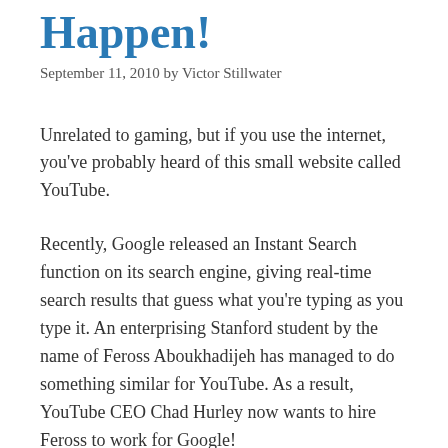Happen!
September 11, 2010 by Victor Stillwater
Unrelated to gaming, but if you use the internet, you've probably heard of this small website called YouTube.
Recently, Google released an Instant Search function on its search engine, giving real-time search results that guess what you're typing as you type it. An enterprising Stanford student by the name of Feross Aboukhadijeh has managed to do something similar for YouTube. As a result, YouTube CEO Chad Hurley now wants to hire Feross to work for Google!
From YouTube...